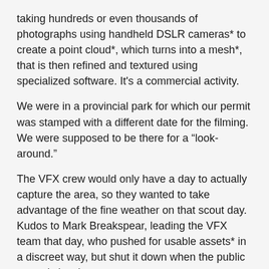taking hundreds or even thousands of photographs using handheld DSLR cameras* to create a point cloud*, which turns into a mesh*, that is then refined and textured using specialized software. It's a commercial activity.
We were in a provincial park for which our permit was stamped with a different date for the filming. We were supposed to be there for a “look-around.”
The VFX crew would only have a day to actually capture the area, so they wanted to take advantage of the fine weather on that scout day. Kudos to Mark Breakspear, leading the VFX team that day, who pushed for usable assets* in a discreet way, but shut it down when the public started showing up.
A complaint would have jeopardized our permit with Alberta Parks. Because photogrammetry is done using pretty much any good quality DSLR, you may see a small team of three or four VFX people joining a recce** without too much other gear along. If you plan to have a location liaison present for the survey, it could possibly get weird and even jeopardize the deal, something